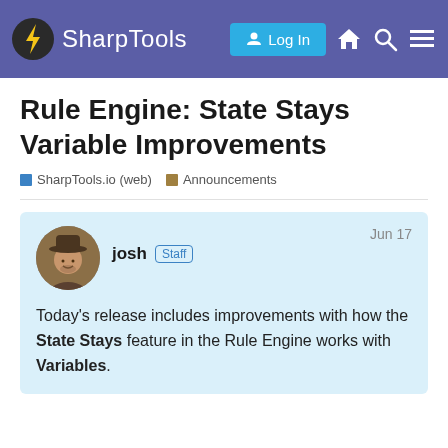SharpTools  Log In
Rule Engine: State Stays Variable Improvements
SharpTools.io (web)  Announcements
josh Staff  Jun 17
Today's release includes improvements with how the State Stays feature in the Rule Engine works with Variables.